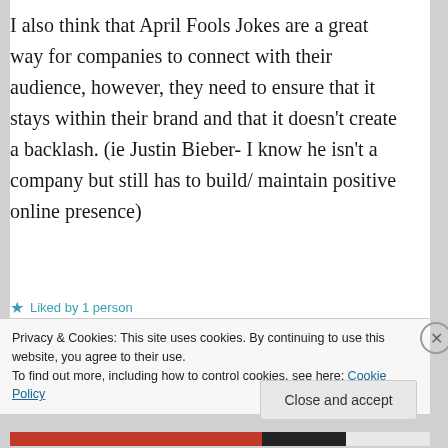I also think that April Fools Jokes are a great way for companies to connect with their audience, however, they need to ensure that it stays within their brand and that it doesn't create a backlash. (ie Justin Bieber- I know he isn't a company but still has to build/ maintain positive online presence)
Liked by 1 person
Privacy & Cookies: This site uses cookies. By continuing to use this website, you agree to their use.
To find out more, including how to control cookies, see here: Cookie Policy
Close and accept